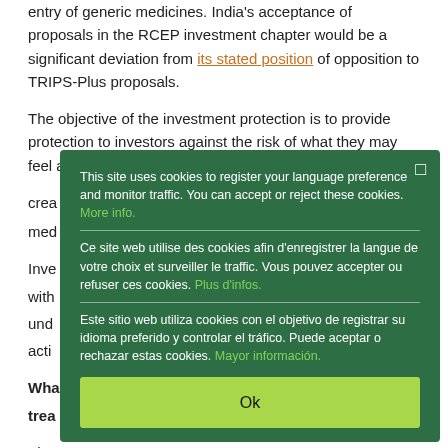entry of generic medicines. India's acceptance of proposals in the RCEP investment chapter would be a significant deviation from its stated position of opposition to TRIPS-Plus proposals.
The objective of the investment protection is to provide protection to investors against the risk of what they may feel are...
Inve... with... und... acti...
Wha... trea...
Thre... treaties has been full of contradictions. India, starting from
[Figure (screenshot): Cookie consent overlay popup with dark green background. Contains three language sections (English, French, Spanish) each describing cookie usage with links for more info. Has an 'Ok' button in light green at the bottom, and a close button (square icon) in the top right corner.]